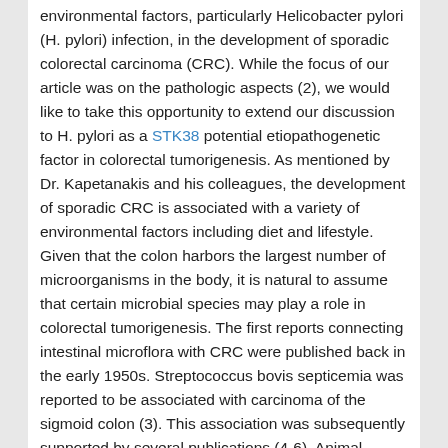environmental factors, particularly Helicobacter pylori (H. pylori) infection, in the development of sporadic colorectal carcinoma (CRC). While the focus of our article was on the pathologic aspects (2), we would like to take this opportunity to extend our discussion to H. pylori as a STK38 potential etiopathogenetic factor in colorectal tumorigenesis. As mentioned by Dr. Kapetanakis and his colleagues, the development of sporadic CRC is associated with a variety of environmental factors including diet and lifestyle. Given that the colon harbors the largest number of microorganisms in the body, it is natural to assume that certain microbial species may play a role in colorectal tumorigenesis. The first reports connecting intestinal microflora with CRC were published back in the early 1950s. Streptococcus bovis septicemia was reported to be associated with carcinoma of the sigmoid colon (3). This association was subsequently supported by several publications (4-6). Animal studies have shown that S.
Posted in Uncategorized | Leave a reply